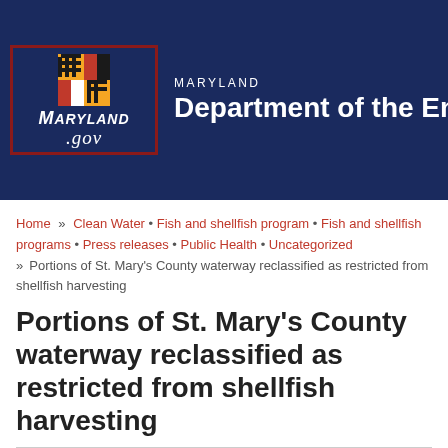[Figure (logo): Maryland Department of the Environment header banner with Maryland.gov logo and department name]
Home » Clean Water • Fish and shellfish program • Fish and shellfish programs • Press releases • Public Health • Uncategorized » Portions of St. Mary's County waterway reclassified as restricted from shellfish harvesting
Portions of St. Mary's County waterway reclassified as restricted from shellfish harvesting
Posted by japperson on May 27, 2022 in Clean Water, Fish and shellfish program, Fish and shellfish programs, Press releases, Public Health, Uncategorized